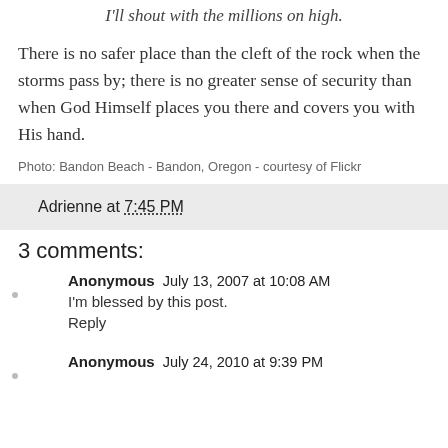I'll shout with the millions on high.
There is no safer place than the cleft of the rock when the storms pass by; there is no greater sense of security than when God Himself places you there and covers you with His hand.
Photo: Bandon Beach - Bandon, Oregon - courtesy of Flickr
Adrienne at 7:45 PM
3 comments:
Anonymous July 13, 2007 at 10:08 AM
I'm blessed by this post.
Reply
Anonymous July 24, 2010 at 9:39 PM